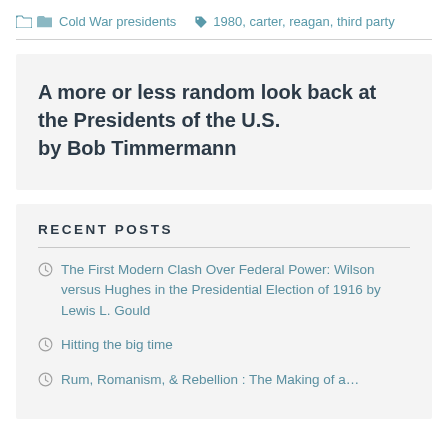Cold War presidents   1980, carter, reagan, third party
A more or less random look back at the Presidents of the U.S. by Bob Timmermann
RECENT POSTS
The First Modern Clash Over Federal Power: Wilson versus Hughes in the Presidential Election of 1916 by Lewis L. Gould
Hitting the big time
Rum, Romanism, & Rebellion : The Making of a...